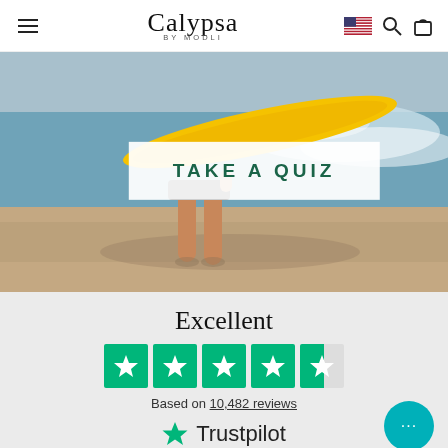Calypsa BY MODLI
[Figure (photo): Person walking on a beach carrying a yellow surfboard, waves in background, feet visible on wet sand, with a white overlay box in the center containing the text TAKE A QUIZ]
TAKE A QUIZ
Excellent
[Figure (other): Trustpilot 4.5-star rating display: 5 green star boxes (4 full, 1 half), labeled 'Based on 10,482 reviews' and Trustpilot branding with green star icon]
Based on 10,482 reviews
Trustpilot